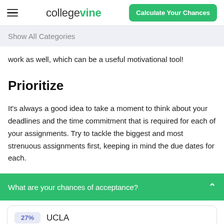collegevine | Calculate Your Chances
Show All Categories
work as well, which can be a useful motivational tool!
Prioritize
It's always a good idea to take a moment to think about your deadlines and the time commitment that is required for each of your assignments. Try to tackle the biggest and most strenuous assignments first, keeping in mind the due dates for each.
What are your chances of acceptance?
27% UCLA